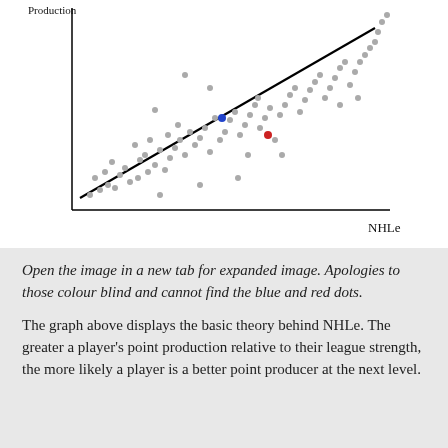[Figure (continuous-plot): Scatter plot with a regression line showing Production (y-axis) vs NHLe (x-axis). Grey dots scattered around a diagonal trend line. Two highlighted dots: one blue and one red, near the center-upper area of the plot.]
Open the image in a new tab for expanded image. Apologies to those colour blind and cannot find the blue and red dots.
The graph above displays the basic theory behind NHLe. The greater a player's point production relative to their league strength, the more likely a player is a better point producer at the next level.